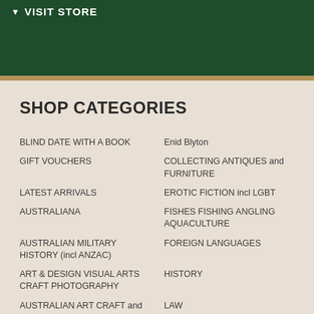VISIT STORE
SHOP CATEGORIES
BLIND DATE WITH A BOOK
GIFT VOUCHERS
LATEST ARRIVALS
AUSTRALIANA
AUSTRALIAN MILITARY HISTORY (incl ANZAC)
ART & DESIGN VISUAL ARTS CRAFT PHOTOGRAPHY
AUSTRALIAN ART CRAFT and PHOTOGRAPHY
ARCHITECTURE, BUILDING, LANDSCAPE, URBAN PLANNING
Enid Blyton
COLLECTING ANTIQUES and FURNITURE
EROTIC FICTION incl LGBT
FISHES FISHING ANGLING AQUACULTURE
FOREIGN LANGUAGES
HISTORY
LAW
LITERARY BIOGRAPHY
MEDICINE Medical Doctor Health Hospitals Nurse Nursing